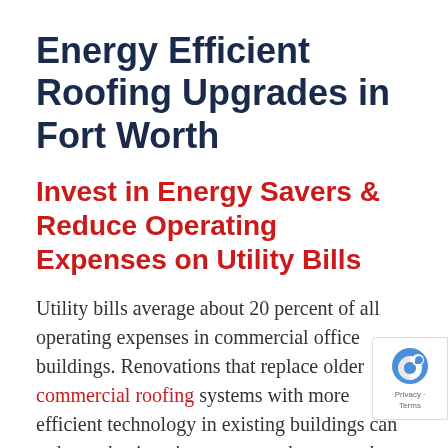Energy Efficient Roofing Upgrades in Fort Worth
Invest in Energy Savers & Reduce Operating Expenses on Utility Bills
Utility bills average about 20 percent of all operating expenses in commercial office buildings. Renovations that replace older commercial roofing systems with more efficient technology in existing buildings can reduce a business' energy costs by as much 30%. Because of these immense savings, many